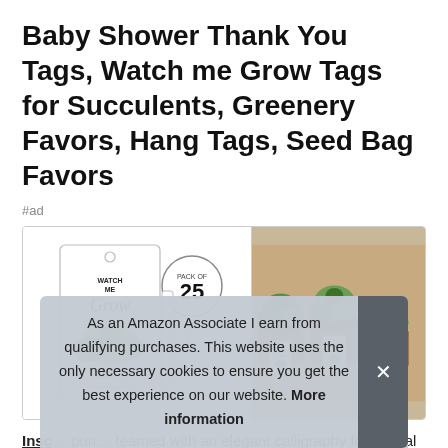Baby Shower Thank You Tags, Watch me Grow Tags for Succulents, Greenery Favors, Hang Tags, Seed Bag Favors
#ad
[Figure (photo): Product image showing a 'Watch Me Grow' thank you tag with succulent illustration, alongside a badge showing '25', and a second photo of multiple tags attached to succulent plants in pots.]
Insc... pun... teamed with an elegant calligraphy font. Ideal for succulent
As an Amazon Associate I earn from qualifying purchases. This website uses the only necessary cookies to ensure you get the best experience on our website. More information